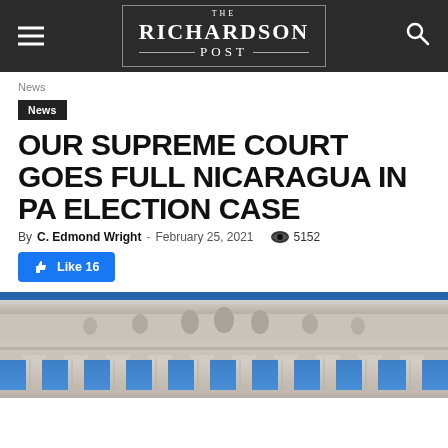THE RICHARDSON POST
News
News
OUR SUPREME COURT GOES FULL NICARAGUA IN PA ELECTION CASE
By C. Edmond Wright - February 25, 2021  5152
Like 16
[Figure (photo): Photograph of the top of the United States Supreme Court building showing the pediment with sculpted figures, columns and entablature against a blue sky]